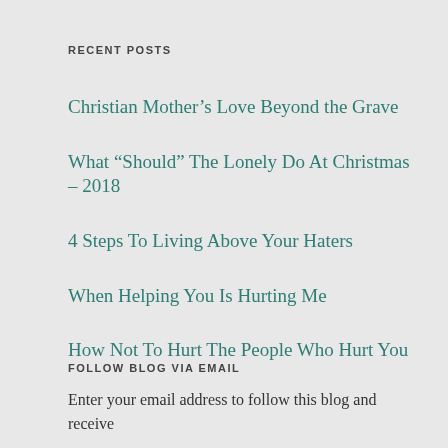RECENT POSTS
Christian Mother’s Love Beyond the Grave
What “Should” The Lonely Do At Christmas – 2018
4 Steps To Living Above Your Haters
When Helping You Is Hurting Me
How Not To Hurt The People Who Hurt You
FOLLOW BLOG VIA EMAIL
Enter your email address to follow this blog and receive